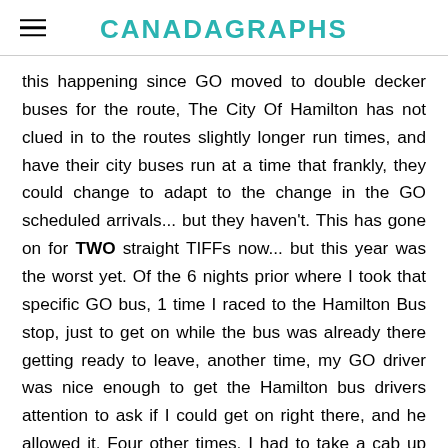CANADAGRAPHS
this happening since GO moved to double decker buses for the route, The City Of Hamilton has not clued in to the routes slightly longer run times, and have their city buses run at a time that frankly, they could change to adapt to the change in the GO scheduled arrivals... but they haven't. This has gone on for TWO straight TIFFs now... but this year was the worst yet. Of the 6 nights prior where I took that specific GO bus, 1 time I raced to the Hamilton Bus stop, just to get on while the bus was already there getting ready to leave, another time, my GO driver was nice enough to get the Hamilton bus drivers attention to ask if I could get on right there, and he allowed it. Four other times, I had to take a cab up the hill... and in ALL FOUR cases, I could